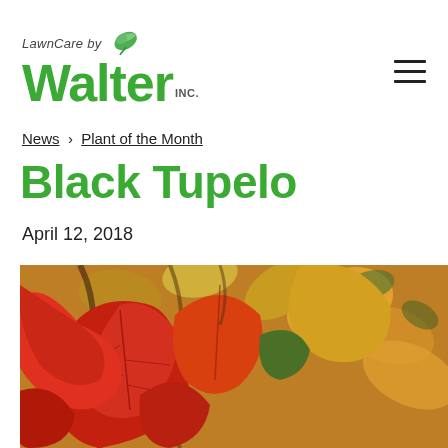[Figure (logo): LawnCare by Walter Inc. logo with green leaf and green bold text]
News › Plant of the Month
Black Tupelo
April 12, 2018
[Figure (photo): Close-up photo of Black Tupelo autumn leaves in red, orange, and yellow colors]